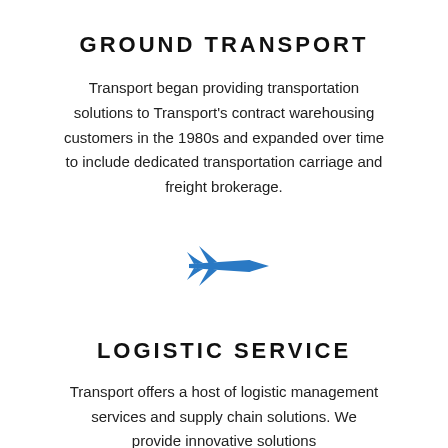GROUND TRANSPORT
Transport began providing transportation solutions to Transport's contract warehousing customers in the 1980s and expanded over time to include dedicated transportation carriage and freight brokerage.
[Figure (illustration): Blue fighter jet / airplane silhouette icon pointing right]
LOGISTIC SERVICE
Transport offers a host of logistic management services and supply chain solutions. We provide innovative solutions